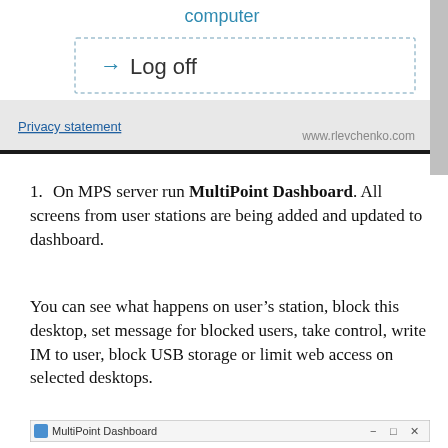[Figure (screenshot): Windows dialog screenshot showing 'computer' heading, a 'Log off' button with arrow, a 'Privacy statement' link, and 'www.rlevchenko.com' watermark]
On MPS server run MultiPoint Dashboard. All screens from user stations are being added and updated to dashboard.
You can see what happens on user’s station, block this desktop, set message for blocked users, take control, write IM to user, block USB storage or limit web access on selected desktops.
[Figure (screenshot): MultiPoint Dashboard application window title bar at bottom of page]